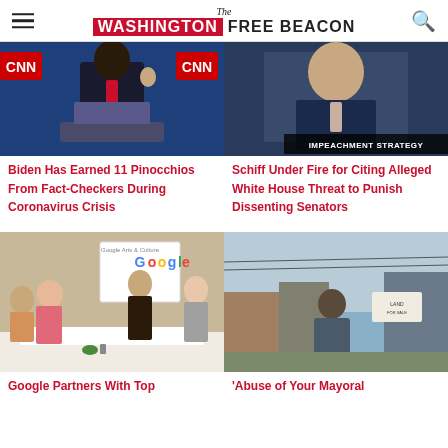The Washington Free Beacon
[Figure (photo): Man in suit raising hand at CNN debate podium]
Biden Has Earned 11 Pinocchios From Fact-Checkers During Coronavirus Crisis
[Figure (photo): Man in suit, TV chyron reading IMPEACHMENT STRATEGY]
Schiff Under Fire for Citing Alleged White House Threat to Punish Dissenting Senators
[Figure (photo): People at a Google Arts & Culture event with a Google logo on a screen]
Google Partners With Top
[Figure (photo): Man standing outdoors near industrial buildings]
'Abuse of Your Mayoral